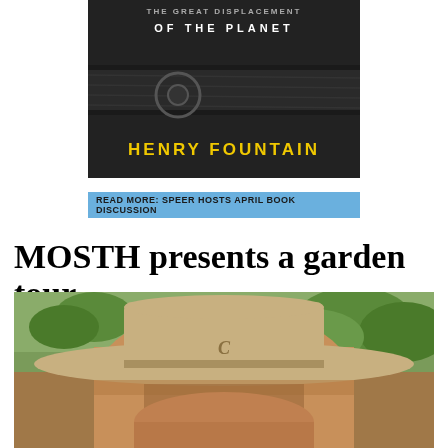[Figure (photo): Book cover with dark background showing 'OF THE PLANET' text and 'HENRY FOUNTAIN' in yellow letters]
READ MORE: SPEER HOSTS APRIL BOOK DISCUSSION
MOSTH presents a garden tour
[Figure (photo): Close-up photo of a man wearing a tan cowboy hat with a 'C' logo, outdoors with green trees in background]